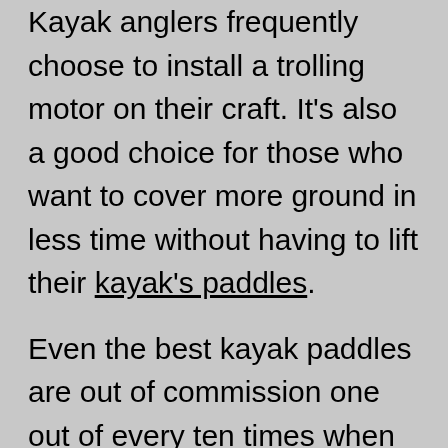Kayak anglers frequently choose to install a trolling motor on their craft. It's also a good choice for those who want to cover more ground in less time without having to lift their kayak's paddles.
Even the best kayak paddles are out of commission one out of every ten times when using the best kayak trolling motors. It's safe to leave the paddle in the kayak in case of an emergency, but with a trolling motor, you'll have both hands free to do anything you want in your kayak, from fishing to photography.
Trolling motors come in a variety of styles to fit